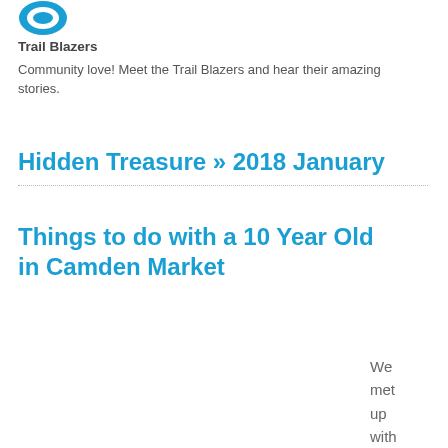[Figure (logo): Circular teal/blue logo partially visible at top left]
Trail Blazers
Community love! Meet the Trail Blazers and hear their amazing stories.
Hidden Treasure » 2018 January
Things to do with a 10 Year Old in Camden Market
We met up with